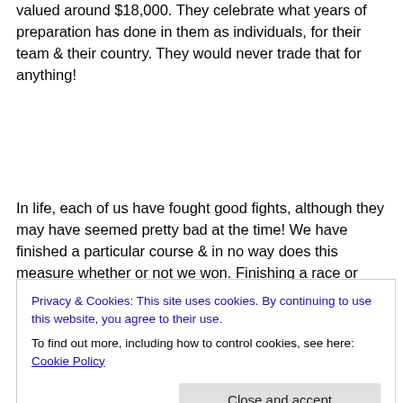valued around $18,000. They celebrate what years of preparation has done in them as individuals, for their team & their country. They would never trade that for anything!
In life, each of us have fought good fights, although they may have seemed pretty bad at the time! We have finished a particular course & in no way does this measure whether or not we won. Finishing a race or course, regardless of the difficulty endured, speaks volumes of us
Privacy & Cookies: This site uses cookies. By continuing to use this website, you agree to their use.
To find out more, including how to control cookies, see here: Cookie Policy
Close and accept